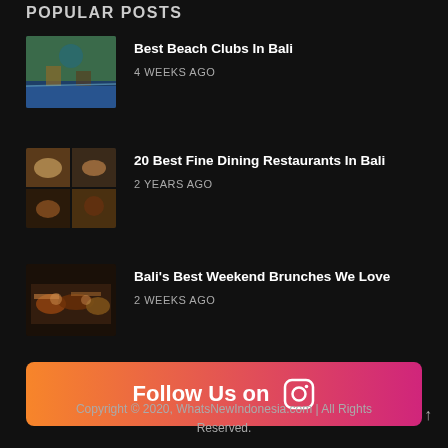POPULAR POSTS
Best Beach Clubs In Bali — 4 WEEKS AGO
[Figure (photo): Aerial view of a beach club in Bali with umbrellas and ocean]
20 Best Fine Dining Restaurants In Bali — 2 YEARS AGO
[Figure (photo): Collage of four fine dining food images]
Bali's Best Weekend Brunches We Love — 2 WEEKS AGO
[Figure (photo): Brunch dishes spread on a table]
Follow Us on
Copyright © 2020, WhatsNewIndonesia.com | All Rights Reserved.